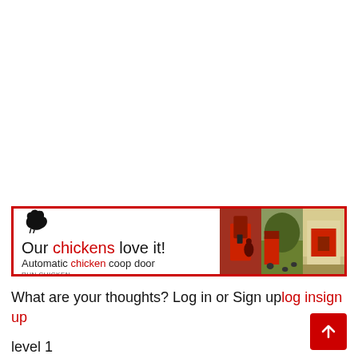[Figure (other): Advertisement banner for 'Run Chicken' automatic chicken coop door. Red border, chicken silhouette icon, text 'Our chickens love it! Automatic chicken coop door', photos of red coop and chickens on right side.]
What are your thoughts? Log in or Sign uplog insign up
level 1
What an emotional roller coaster of a day, man.